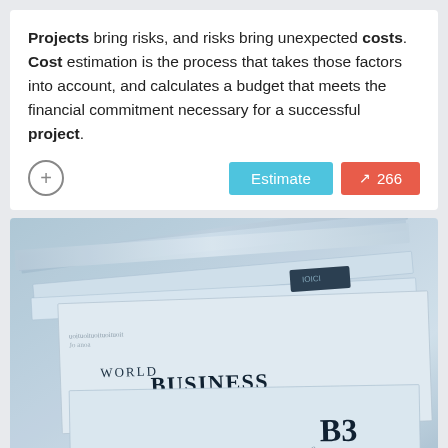Projects bring risks, and risks bring unexpected costs. Cost estimation is the process that takes those factors into account, and calculates a budget that meets the financial commitment necessary for a successful project.
[Figure (photo): Stack of newspapers folded and fanned out, with visible headlines including 'WORLD BUSINESS' and section label 'B3', shot in blue-tinted tones]